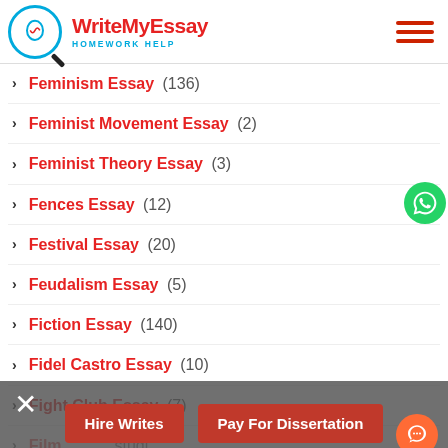WriteMyEssay HOMEWORK HELP
Feminism Essay (136)
Feminist Movement Essay (2)
Feminist Theory Essay (3)
Fences Essay (12)
Festival Essay (20)
Feudalism Essay (5)
Fiction Essay (140)
Fidel Castro Essay (10)
Fight Club Essay (7)
Film studies (partial)